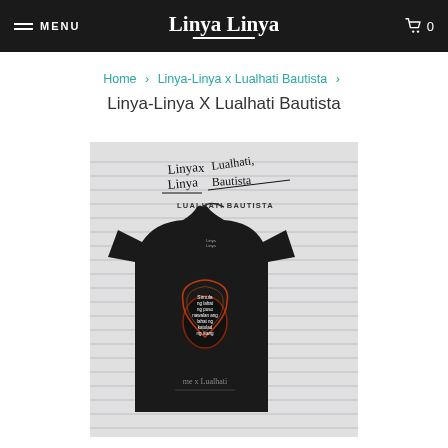MENU  Linya Linya  🛒 0
Home > Linya-Linya x Lualhati Bautista >
Linya-Linya X Lualhati Bautista
[Figure (photo): Product photo of a black t-shirt with a heart-shaped graphic design, displayed against a lined notebook paper background. Above the shirt is a handwritten logo reading 'Linya Linya x Lualhati Bautista' with the text 'LUALHATI BAUTISTA' printed below in small caps.]